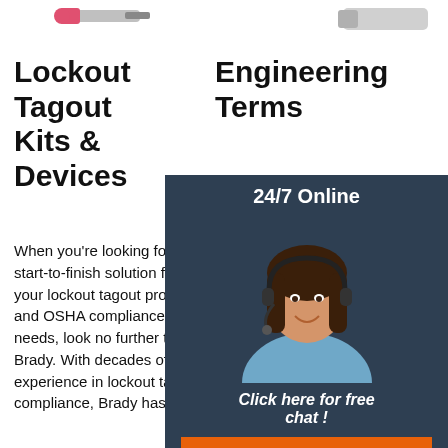[Figure (photo): Product image of a lockout tagout device (pink/red tool) at top left]
Lockout Tagout Kits & Devices
When you're looking for a start-to-finish solution for your lockout tagout program and OSHA compliance needs, look no further than Brady. With decades of experience in lockout tagout compliance, Brady has
[Figure (photo): Product image at top right]
Engineering Terms
The ef measu ounces to enga compo Insulat Part of which i to be d the ins portion It acts as a strain relief for the wire ear and prevents damage to the wire from flexing. Insertion tool: A
[Figure (photo): 24/7 Online chat widget overlay with female customer service agent, 'Click here for free chat!' text and QUOTATION button]
[Figure (illustration): TOP badge in orange/red dotted circle at bottom right]